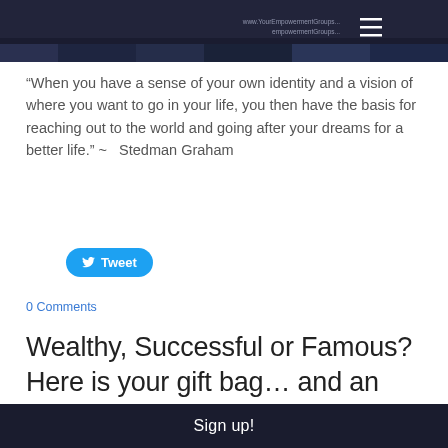[Figure (screenshot): Dark header image with website URL text and hamburger menu icon on the right]
“When you have a sense of your own identity and a vision of where you want to go in your life, you then have the basis for reaching out to the world and going after your dreams for a better life.” ~  Stedman Graham
[Figure (other): Blue Tweet button with Twitter bird icon]
0 Comments
Wealthy, Successful or Famous? Here is your gift bag… and an updated rule book we EXPECT
Sign up!